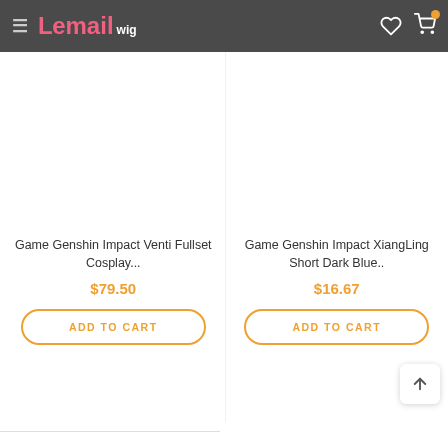Lemail wig
Game Genshin Impact Venti Fullset Cosplay... $79.50
Game Genshin Impact XiangLing Short Dark Blue.. $16.67